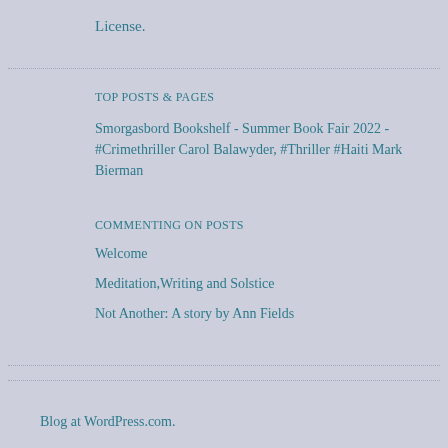License.
TOP POSTS & PAGES
Smorgasbord Bookshelf - Summer Book Fair 2022 - #Crimethriller Carol Balawyder, #Thriller #Haiti Mark Bierman
COMMENTING ON POSTS
Welcome
Meditation,Writing and Solstice
Not Another: A story by Ann Fields
Blog at WordPress.com.